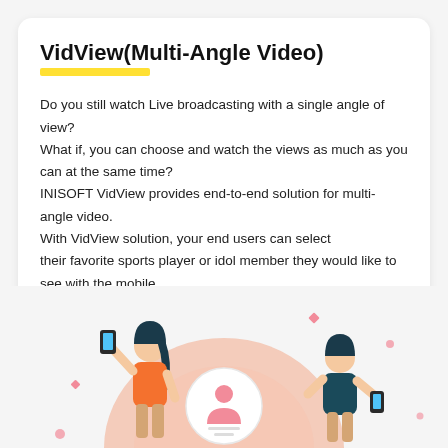VidView(Multi-Angle Video)
Do you still watch Live broadcasting with a single angle of view?
What if, you can choose and watch the views as much as you can at the same time?
INISOFT VidView provides end-to-end solution for multi-angle video.
With VidView solution, your end users can select
their favorite sports player or idol member they would like to see with the mobile.
Don't confuse with previous multi-angle solution.
VidView solution offers one main view with selective views as much as you want.
Enjoy watching with your taste!
[Figure (illustration): Illustration of two people holding mobile phones viewing multi-angle video content, with a large circular display showing a person icon in the center, pink/coral color scheme with decorative elements]